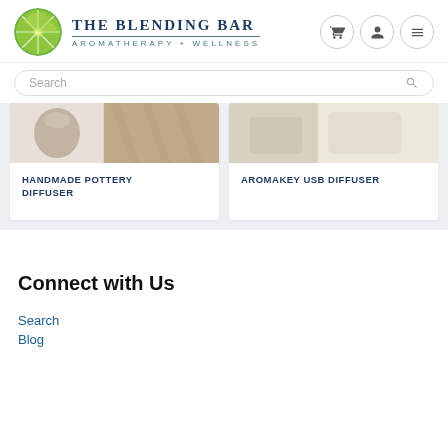[Figure (logo): The Blending Bar logo with lime/citrus circle icon and text 'THE BLENDING BAR AROMATHERAPY + WELLNESS']
Search
HANDMADE POTTERY DIFFUSER
AROMAKEY USB DIFFUSER
Connect with Us
Search
Blog